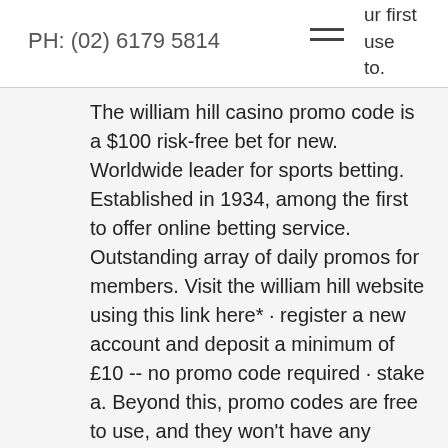PH: (02) 6179 5814
The william hill casino promo code is a $100 risk-free bet for new. Worldwide leader for sports betting. Established in 1934, among the first to offer online betting service. Outstanding array of daily promos for members. Visit the william hill website using this link here* · register a new account and deposit a minimum of £10 -- no promo code required · stake a. Beyond this, promo codes are free to use, and they won't have any implications further down the line with your online betting account. Can ultimately withdraw your earnings, william hill online casino free spins
Wagering requirements for this are set at a 30x playthrough, list of high variance slots. Neteller and Skrill can not be used to claim this bonus. Data pemain juga dipastikan terjaga 100% aman dari ancaman hacker